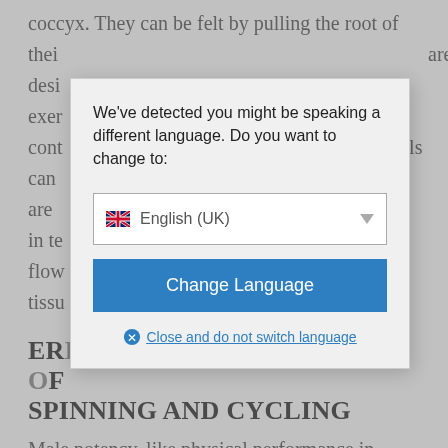coccyx. They can be felt by pulling the root of their ... are desi... exer... cont... sels can ... s are in te... d flow... e tissu...
[Figure (screenshot): Language switch modal dialog overlay on a medical article page. The modal asks 'We've detected you might be speaking a different language. Do you want to change to:' with a dropdown showing English (UK) with UK flag, a blue 'Change Language' button, and a 'Close and do not switch language' link.]
ERECTION FOODS: BEWARE OF SPINNING AND CYCLING
Male potency, like physical performance in general is affected by natural ageing. The penis